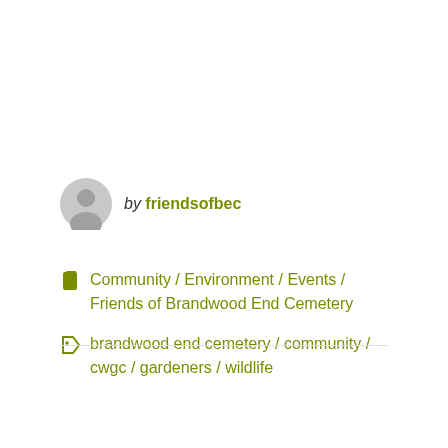by friendsofbec
Community / Environment / Events / Friends of Brandwood End Cemetery
brandwood end cemetery / community / cwgc / gardeners / wildlife